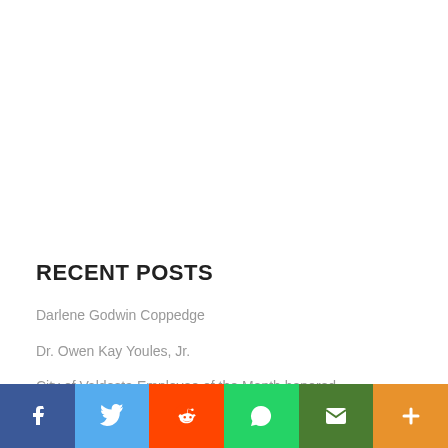RECENT POSTS
Darlene Godwin Coppedge
Dr. Owen Kay Youles, Jr.
City of Valdosta Employee of the Month honored
[Figure (infographic): Social sharing bar with icons for Facebook, Twitter, Reddit, WhatsApp, Email, and More]